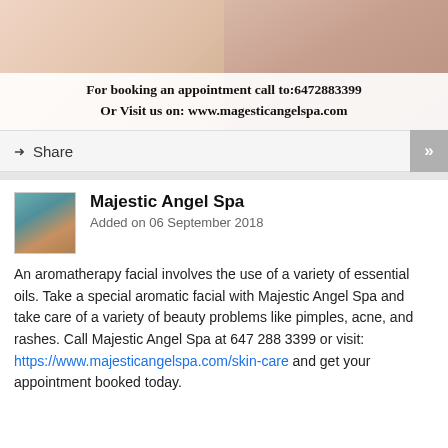[Figure (photo): Split spa/massage banner image: left half shows pale pink/cream tones, right half shows a person receiving a massage treatment.]
For booking an appointment call to:6472883399
Or Visit us on: www.magesticangelspa.com
Share
Majestic Angel Spa
Added on 06 September 2018
An aromatherapy facial involves the use of a variety of essential oils. Take a special aromatic facial with Majestic Angel Spa and take care of a variety of beauty problems like pimples, acne, and rashes. Call Majestic Angel Spa at 647 288 3399 or visit: https://www.majesticangelspa.com/skin-care and get your appointment booked today.